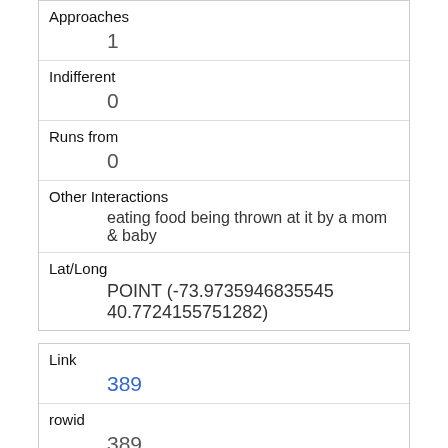| Field | Value |
| --- | --- |
| Approaches | 1 |
| Indifferent | 0 |
| Runs from | 0 |
| Other Interactions | eating food being thrown at it by a mom & baby |
| Lat/Long | POINT (-73.9735946835545 40.7724155751282) |
| Field | Value |
| --- | --- |
| Link | 389 |
| rowid | 389 |
| longitude | -73.9733966282316 |
| latitude | 40.7717179627127 |
| Unique Squirrel ID |  |